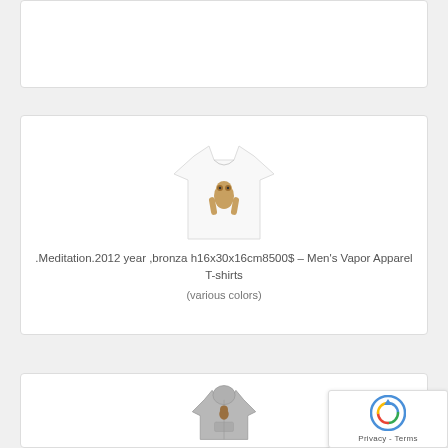[Figure (photo): Top product card, partially visible, white background with border]
[Figure (photo): White t-shirt with monkey/ape graphic print on chest]
.Meditation.2012 year ,bronza h16x30x16cm8500$ – Men's Vapor Apparel T-shirts
(various colors)
[Figure (photo): Gray hoodie with graphic print, partially visible at bottom of page]
[Figure (logo): reCAPTCHA widget overlay with circular arrow logo and Privacy - Terms text]